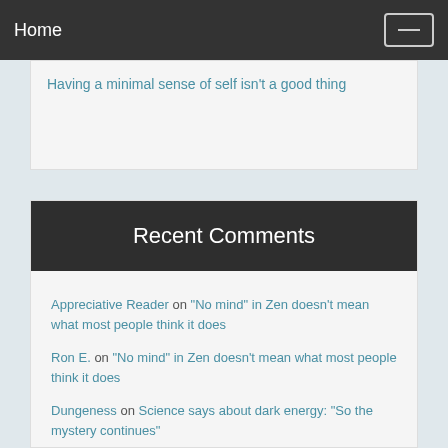Home
Having a minimal sense of self isn't a good thing
Recent Comments
Appreciative Reader on "No mind" in Zen doesn't mean what most people think it does
Ron E. on "No mind" in Zen doesn't mean what most people think it does
Dungeness on Science says about dark energy: "So the mystery continues"
Appreciative Reader on Science says about dark energy: "So the mystery continues"
Dungeness on Science says about dark energy: "So